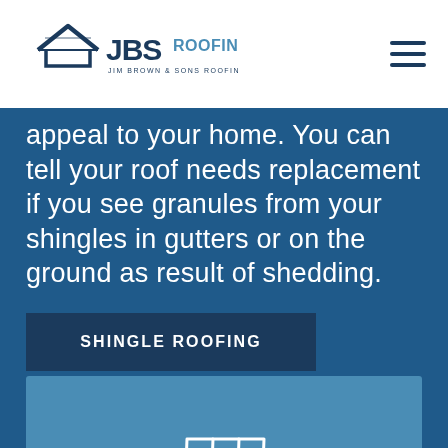[Figure (logo): JBS Roofing logo — Jim Brown & Sons Roofing, with house/roof icon above stylized letters JBS ROOFING]
appeal to your home. You can tell your roof needs replacement if you see granules from your shingles in gutters or on the ground as result of shedding.
SHINGLE ROOFING
[Figure (illustration): Tile roof panel icon (grid of tiles) in white on blue background, above 'Tile Roofs' label]
Tile Roofs